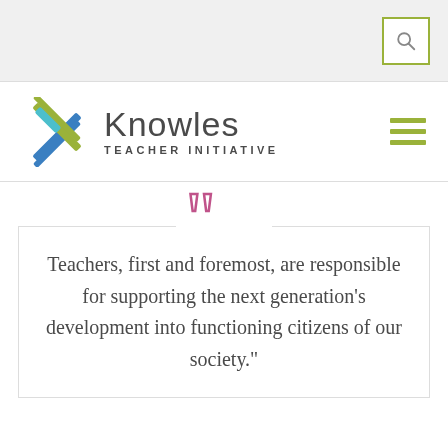[Search icon]
[Figure (logo): Knowles Teacher Initiative logo with colorful X mark and text]
Teachers, first and foremost, are responsible for supporting the next generation's development into functioning citizens of our society."